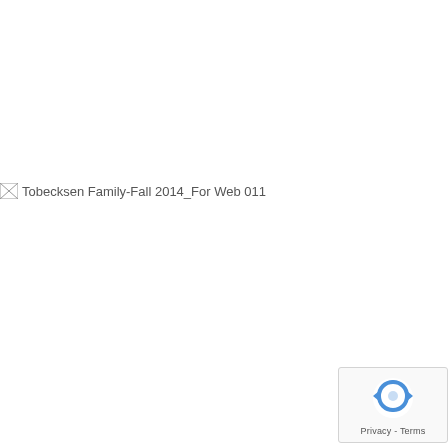[Figure (photo): Broken image placeholder with alt text 'Tobecksen Family-Fall 2014_For Web 011']
[Figure (other): reCAPTCHA badge with circular arrow logo and 'Privacy - Terms' text]